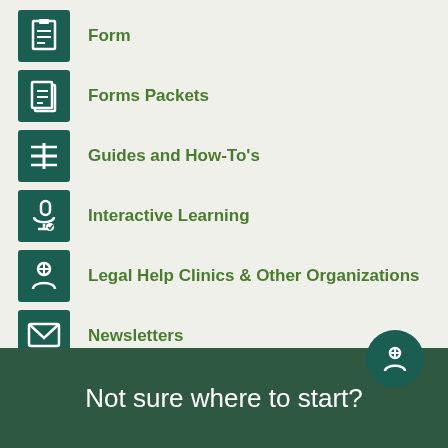Form
Forms Packets
Guides and How-To's
Interactive Learning
Legal Help Clinics & Other Organizations
Newsletters
Podcasts
Screeners
Not sure where to start?